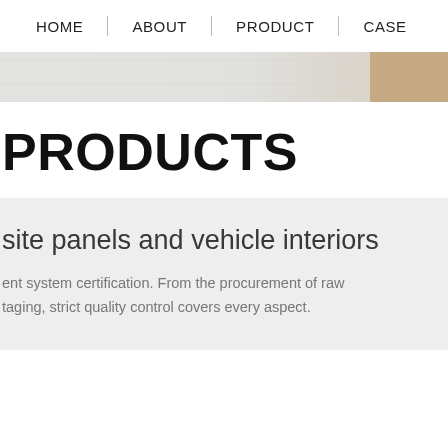HOME | ABOUT | PRODUCT | CASE
[Figure (photo): Hero image strip showing white material panels on the left and a warm beige/wood-toned panel on the right]
PRODUCTS
site panels and vehicle interiors
ent system certification. From the procurement of raw taging, strict quality control covers every aspect.